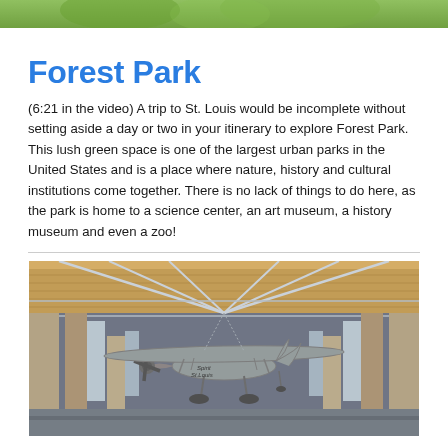[Figure (photo): Top portion of an outdoor green/nature scene, partially cropped at the top of the page]
Forest Park
(6:21 in the video) A trip to St. Louis would be incomplete without setting aside a day or two in your itinerary to explore Forest Park. This lush green space is one of the largest urban parks in the United States and is a place where nature, history and cultural institutions come together. There is no lack of things to do here, as the park is home to a science center, an art museum, a history museum and even a zoo!
[Figure (photo): Interior of a museum or exhibition hall showing a replica of the Spirit of St. Louis airplane suspended from the ceiling, with wooden ceiling beams, metal structural elements, and large windows visible]